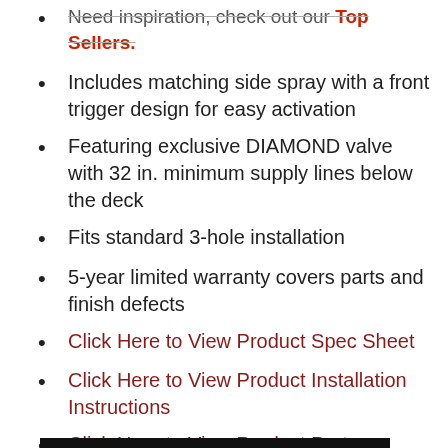Need inspiration, check out our Top Sellers.
Includes matching side spray with a front trigger design for easy activation
Featuring exclusive DIAMOND valve with 32 in. minimum supply lines below the deck
Fits standard 3-hole installation
5-year limited warranty covers parts and finish defects
Click Here to View Product Spec Sheet
Click Here to View Product Installation Instructions
Click Here to View Product Parts Breakdown
Authorized Online Retailer